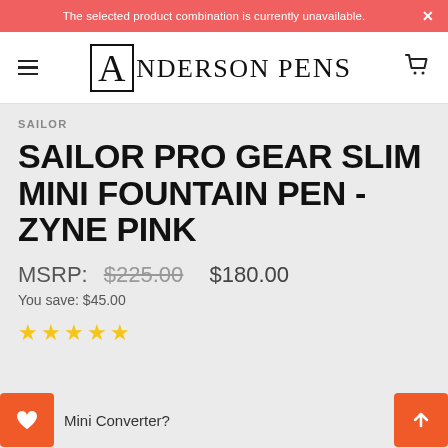The selected product combination is currently unavailable.
[Figure (logo): Anderson Pens logo with large A in a box followed by 'NDERSON PENS' text]
SAILOR
SAILOR PRO GEAR SLIM MINI FOUNTAIN PEN - ZYNE PINK
MSRP: $225.00 $180.00
You save: $45.00
[Figure (other): 5 empty star rating icons in gold/yellow color]
Mini Converter?